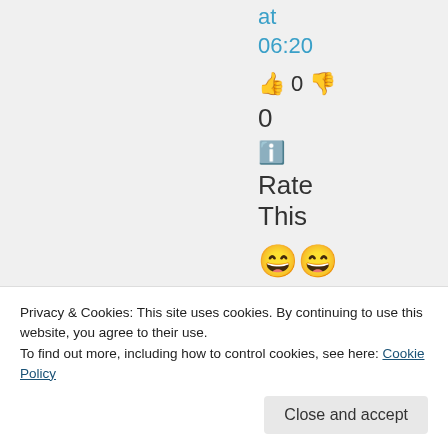at
06:20
👍 0 👎
0
ℹ Rate
This
[Figure (illustration): Six emoji faces in three rows of two: laugh emoji pairs, then smiling emoji pairs, then blushing emoji pairs]
Privacy & Cookies: This site uses cookies. By continuing to use this website, you agree to their use.
To find out more, including how to control cookies, see here: Cookie Policy
Close and accept